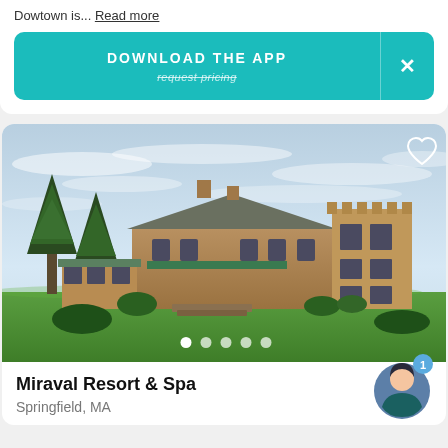Dowtown is... Read more
DOWNLOAD THE APP
[Figure (photo): Exterior photo of Miraval Resort and Spa, a large stone mansion/hotel with green lawn and trees, blue sky with clouds, green awnings on the building]
Miraval Resort & Spa
Springfield, MA